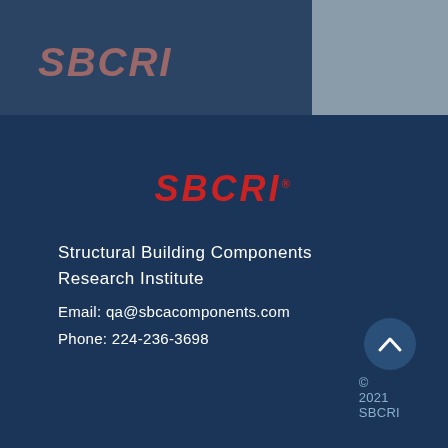[Figure (logo): SBCRI logo text in salmon/pink italic bold letters in the top-left header area]
[Figure (other): Submit button with underlined text and two horizontal lines, in a light grey box in the top-right corner]
[Figure (logo): SBCRI logo text in bold red italic letters centered in the main dark blue content area]
Structural Building Components Research Institute
Email: qa@sbcacomponents.com
Phone: 224-236-3698
© 2021 SBCRI